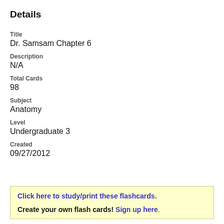Details
Title
Dr. Samsam Chapter 6
Description
N/A
Total Cards
98
Subject
Anatomy
Level
Undergraduate 3
Created
09/27/2012
Click here to study/print these flashcards.
Create your own flash cards! Sign up here.